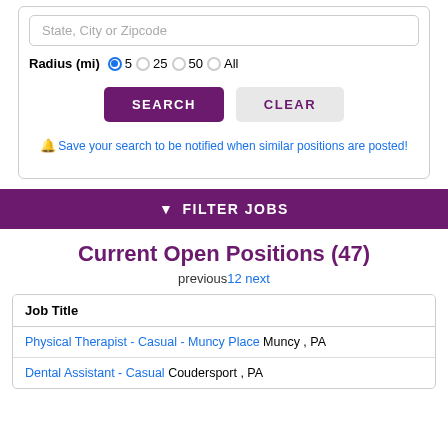State, City or Zipcode
Radius (mi) 5 25 50 All
SEARCH
CLEAR
Save your search to be notified when similar positions are posted!
FILTER JOBS
Current Open Positions (47)
previous 1 2 next
| Job Title |
| --- |
| Physical Therapist - Casual - Muncy Place   Muncy , PA |
| Dental Assistant - Casual   Coudersport , PA |